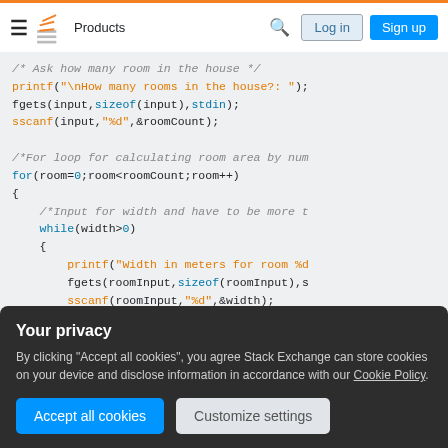Stack Overflow navigation — hamburger menu, logo, Products, search, Log in, Sign up
[Figure (screenshot): C code snippet showing printf, fgets, sscanf for room input, for loop, while loop, and nested printf/fgets/sscanf for width input]
Your privacy
By clicking "Accept all cookies", you agree Stack Exchange can store cookies on your device and disclose information in accordance with our Cookie Policy.
Accept all cookies   Customize settings